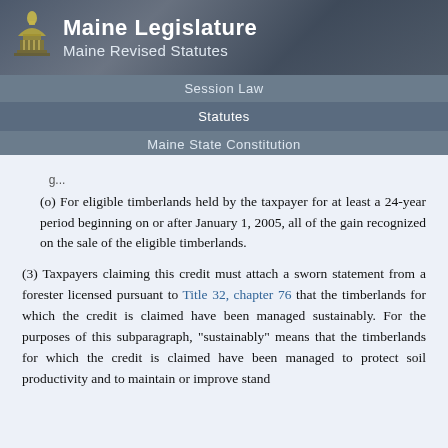Maine Legislature
Maine Revised Statutes
Session Law
Statutes
Maine State Constitution
Information
(o) For eligible timberlands held by the taxpayer for at least a 24-year period beginning on or after January 1, 2005, all of the gain recognized on the sale of the eligible timberlands.
(3) Taxpayers claiming this credit must attach a sworn statement from a forester licensed pursuant to Title 32, chapter 76 that the timberlands for which the credit is claimed have been managed sustainably. For the purposes of this subparagraph, "sustainably" means that the timberlands for which the credit is claimed have been managed to protect soil productivity and to maintain or improve stand